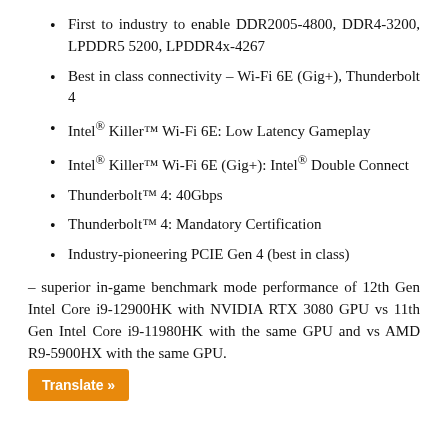First to industry to enable DDR2005-4800, DDR4-3200, LPDDR5 5200, LPDDR4x-4267
Best in class connectivity – Wi-Fi 6E (Gig+), Thunderbolt 4
Intel® Killer™ Wi-Fi 6E: Low Latency Gameplay
Intel® Killer™ Wi-Fi 6E (Gig+): Intel® Double Connect
Thunderbolt™ 4: 40Gbps
Thunderbolt™ 4: Mandatory Certification
Industry-pioneering PCIE Gen 4 (best in class)
– superior in-game benchmark mode performance of 12th Gen Intel Core i9-12900HK with NVIDIA RTX 3080 GPU vs 11th Gen Intel Core i9-11980HK with the same GPU and vs AMD R9-5900HX with the same GPU.